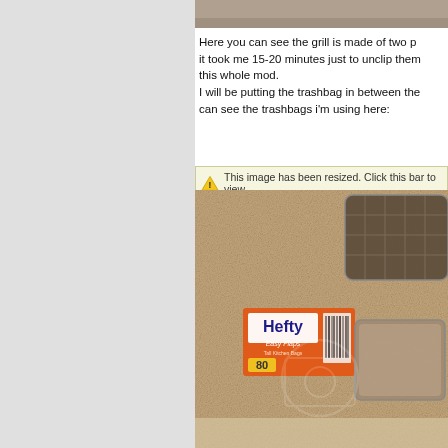[Figure (photo): Top strip showing a partial photo at the top of the right panel]
Here you can see the grill is made of two p... it took me 15-20 minutes just to unclip them... this whole mod. I will be putting the trashbag in between the... can see the trashbags i'm using here:
This image has been resized. Click this bar to view...
[Figure (photo): Photo of Hefty Easy Flaps trash bags box (80 count, orange box) and car grill pieces laid on carpet/textured surface]